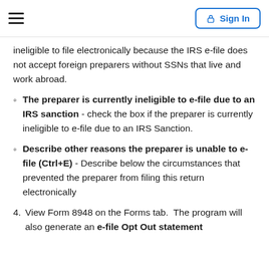≡  Sign In
ineligible to file electronically because the IRS e-file does not accept foreign preparers without SSNs that live and work abroad.
The preparer is currently ineligible to e-file due to an IRS sanction - check the box if the preparer is currently ineligible to e-file due to an IRS Sanction.
Describe other reasons the preparer is unable to e-file (Ctrl+E) - Describe below the circumstances that prevented the preparer from filing this return electronically
4. View Form 8948 on the Forms tab.  The program will also generate an e-file Opt Out statement